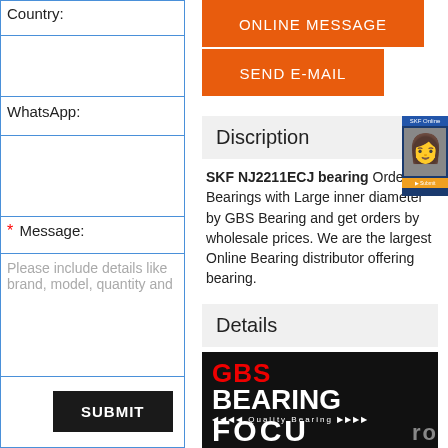Country:
WhatsApp:
* Message:
Please include details like brand, model, quantity and
SUBMIT
ONLINE MESSAGE
SEND E-MAIL
Discription
SKF NJ2211ECJ bearing Order for Bearings with Large inner diameter by GBS Bearing and get orders by wholesale prices. We are the largest Online Bearing distributor offering bearing.
Details
[Figure (logo): GBS Bearing logo with red GBS text and white BEARING text, Quality Bearing tagline, with FOCUS text at bottom]